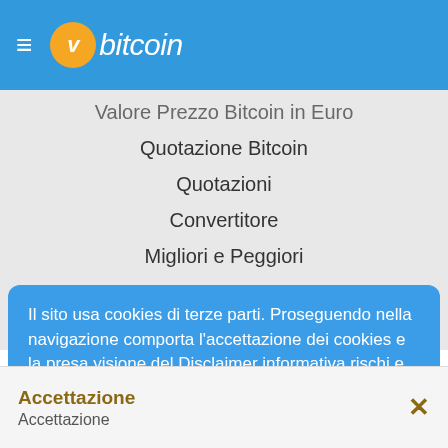≡ vbitcoin
Valore Prezzo Bitcoin in Euro
Quotazione Bitcoin
Quotazioni
Convertitore
Migliori e Peggiori
ICOs
Exchanges
Il sito usa cookies di terze parti. Proseguendo nella navigazione comporta l'accettazione dei cookies e la presa visione del Disclaimer informativa rischi e Gdpr. Informativa: DISCLAIMER - EU COOKIES - GDPR
Accettazione
Accettazione